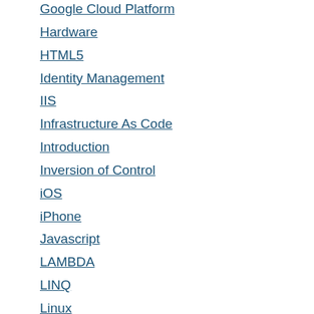Google Cloud Platform
Hardware
HTML5
Identity Management
IIS
Infrastructure As Code
Introduction
Inversion of Control
iOS
iPhone
Javascript
LAMBDA
LINQ
Linux
Machine Learning
Managed Identity
Message Broker
Message Queue
Microservices